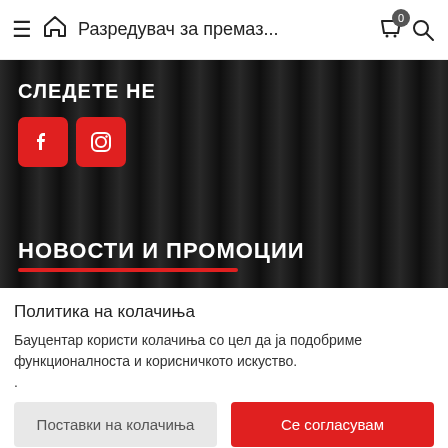Разредувач за премаз…
СЛЕДЕТЕ НЕ
[Figure (other): Social media buttons: Facebook and Instagram red square icons]
НОВОСТИ И ПРОМОЦИИ
Политика на колачиња
Бауцентар користи колачиња со цел да ја подобриме функционалноста и корисничкото искуство.
.
Поставки на колачиња | Се согласувам